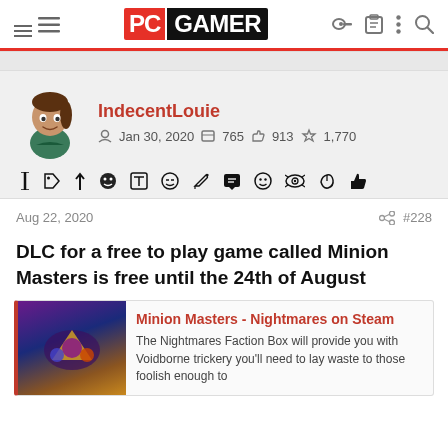PC GAMER navigation bar with hamburger menu, PC GAMER logo, and icons (key, clipboard, more, search)
IndecentLouie
Jan 30, 2020  765  913  1,770
Aug 22, 2020   #228
DLC for a free to play game called Minion Masters is free until the 24th of August
Minion Masters - Nightmares on Steam
The Nightmares Faction Box will provide you with Voidborne trickery you'll need to lay waste to those foolish enough to